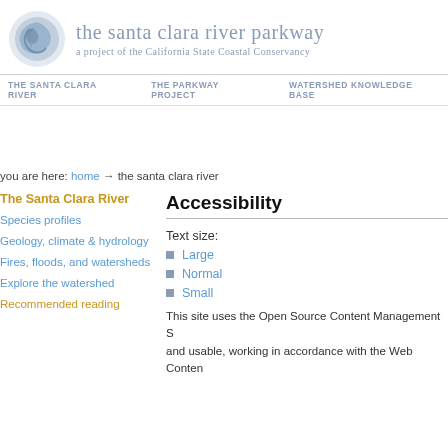the santa clara river parkway — a project of the California State Coastal Conservancy
[Figure (logo): Circular logo with stylized wave/shell design in blue-gray tones for the Santa Clara River Parkway]
THE SANTA CLARA RIVER   THE PARKWAY PROJECT   WATERSHED KNOWLEDGE BASE
you are here: home → the santa clara river
The Santa Clara River
Species profiles
Geology, climate & hydrology
Fires, floods, and watersheds
Explore the watershed
Recommended reading
Accessibility
Text size:
Large
Normal
Small
This site uses the Open Source Content Management S... and usable, working in accordance with the Web Conten...